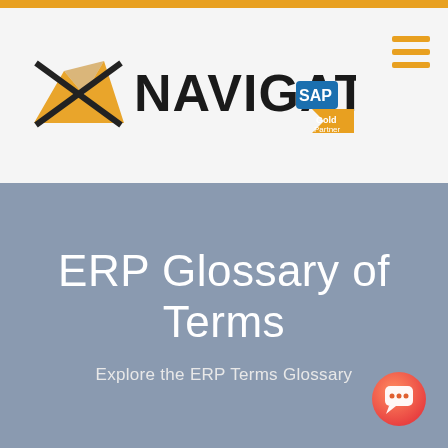[Figure (logo): Navigator SAP Gold Partner logo with golden mountain/path graphic and 'NAVIGATOR' text in bold black, SAP badge in blue, Gold Partner label in gold]
[Figure (other): Hamburger menu icon — three horizontal orange/gold lines stacked]
ERP Glossary of Terms
Explore the ERP Terms Glossary
[Figure (other): Orange gradient circle chat bubble button in bottom-right corner]